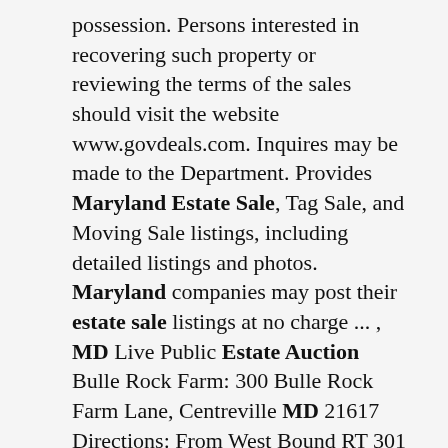possession. Persons interested in recovering such property or reviewing the terms of the sales should visit the website www.govdeals.com. Inquires may be made to the Department. Provides Maryland Estate Sale, Tag Sale, and Moving Sale listings, including detailed listings and photos. Maryland companies may post their estate sale listings at no charge ... , MD Live Public Estate Auction Bulle Rock Farm: 300 Bulle Rock Farm Lane, Centreville MD 21617 Directions: From West Bound RT 301 Turn Right On Perlee Rd, Then Turn. Servicing all of Central Maryland and beyond we are Maryland's Busiest Auction with twice Weekly Admission Free Public Auctions. Our Auctions are held every Sunday live at 4:30pm, certain Wednesday's live at 6:30pm and every other Wednesday at 7:00pm online. Our Gallery features wall to